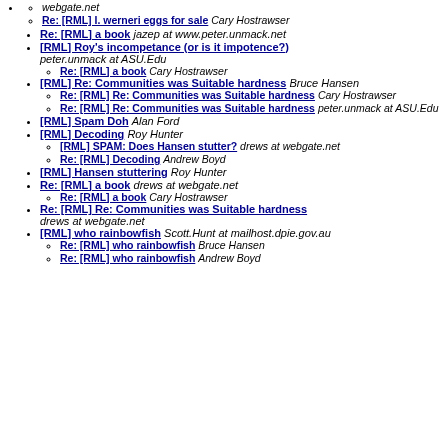Re: [RML] I. werneri eggs for sale Cary Hostrawser (sub-item)
Re: [RML] a book jazep at www.peter.unmack.net
[RML] Roy's incompetance (or is it impotence?) peter.unmack at ASU.Edu
Re: [RML] a book Cary Hostrawser (sub-item)
[RML] Re: Communities was Suitable hardness Bruce Hansen
Re: [RML] Re: Communities was Suitable hardness Cary Hostrawser (sub-item)
Re: [RML] Re: Communities was Suitable hardness peter.unmack at ASU.Edu (sub-item)
[RML] Spam Doh Alan Ford
[RML] Decoding Roy Hunter
[RML] SPAM: Does Hansen stutter? drews at webgate.net (sub-item)
Re: [RML] Decoding Andrew Boyd (sub-item)
[RML] Hansen stuttering Roy Hunter
Re: [RML] a book drews at webgate.net
Re: [RML] a book Cary Hostrawser (sub-item)
Re: [RML] Re: Communities was Suitable hardness drews at webgate.net
[RML] who rainbowfish Scott.Hunt at mailhost.dpie.gov.au
Re: [RML] who rainbowfish Bruce Hansen (sub-item)
Re: [RML] who rainbowfish Andrew Boyd (sub-item)